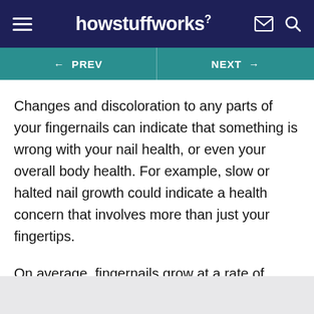howstuffworks
← PREV   NEXT →
Changes and discoloration to any parts of your fingernails can indicate that something is wrong with your nail health, or even your overall body health. For example, slow or halted nail growth could indicate a health concern that involves more than just your fingertips.
On average, fingernails grow at a rate of about 0.08 to 0.12 inches (2 to 3 millimeters) a month.